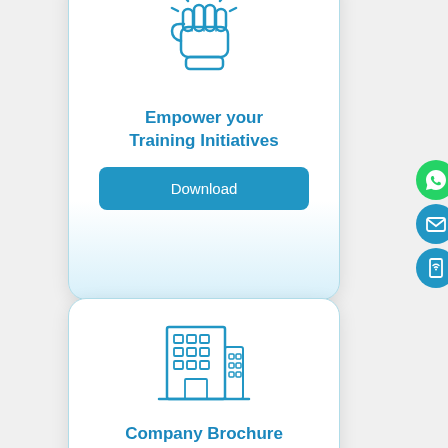[Figure (illustration): Card with blue fist/power icon with shine lines, title 'Empower your Training Initiatives', and a blue Download button]
Empower your Training Initiatives
[Figure (illustration): Card with blue building/company icon, title 'Company Brochure', and a blue Download button]
Company Brochure
[Figure (illustration): Side contact buttons: WhatsApp (green), Email (blue), Phone (blue)]